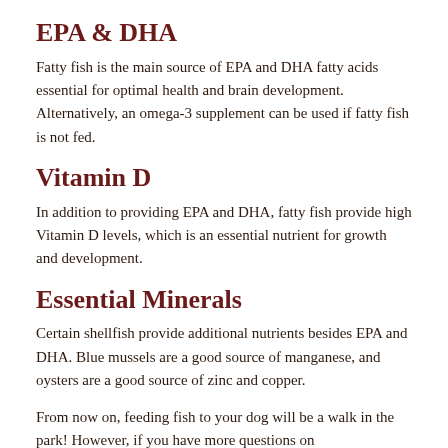EPA & DHA
Fatty fish is the main source of EPA and DHA fatty acids essential for optimal health and brain development. Alternatively, an omega-3 supplement can be used if fatty fish is not fed.
Vitamin D
In addition to providing EPA and DHA, fatty fish provide high Vitamin D levels, which is an essential nutrient for growth and development.
Essential Minerals
Certain shellfish provide additional nutrients besides EPA and DHA. Blue mussels are a good source of manganese, and oysters are a good source of zinc and copper.
From now on, feeding fish to your dog will be a walk in the park! However, if you have more questions on